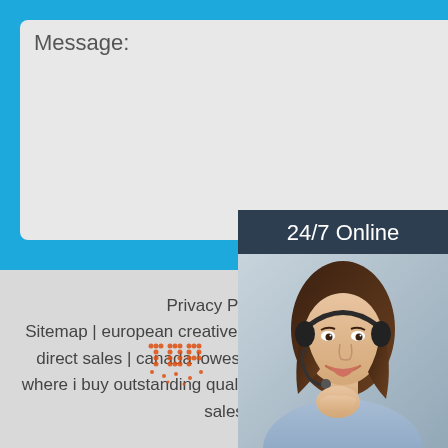Message:
[Figure (illustration): Orange rounded Submit Now button on blue background]
[Figure (photo): 24/7 Online chat widget with photo of a woman wearing a headset, 'Click here for free chat!' text, and an orange QUOTATION button]
Privacy Policy | Sitemap | european creative fancy brooch pin factory direct sales | canada lowest price zircon earrings | where i buy outstanding quality sun flower ring factory sales